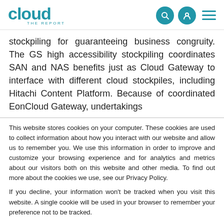cloud THE REPORT
stockpiling for guaranteeing business congruity. The GS high accessibility stockpiling coordinates SAN and NAS benefits just as Cloud Gateway to interface with different cloud stockpiles, including Hitachi Content Platform. Because of coordinated EonCloud Gateway, undertakings
This website stores cookies on your computer. These cookies are used to collect information about how you interact with our website and allow us to remember you. We use this information in order to improve and customize your browsing experience and for analytics and metrics about our visitors both on this website and other media. To find out more about the cookies we use, see our Privacy Policy.

If you decline, your information won't be tracked when you visit this website. A single cookie will be used in your browser to remember your preference not to be tracked.
Accept | Decline